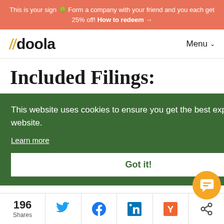This is your sign 🍀 Form a company with your friend and you each get 25% off! How to redeem →
[Figure (logo): doola logo with two yellow forward slashes followed by doola in bold black text, and Menu navigation link]
Included Filings:
This website uses cookies to ensure you get the best experience on our website. Learn more
Got it!
196 Shares — Twitter, Facebook, LinkedIn, Hacker News, Share icons